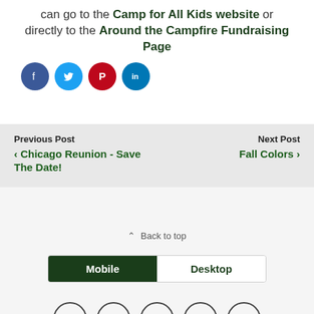can go to the Camp for All Kids website or directly to the Around the Campfire Fundraising Page
[Figure (infographic): Four social media share buttons: Facebook (blue circle), Twitter (light blue circle), Pinterest (red circle), LinkedIn (blue circle)]
Previous Post
‹ Chicago Reunion - Save The Date!
Next Post
Fall Colors ›
⌃ Back to top
[Figure (infographic): Mobile/Desktop toggle bar with Mobile selected (dark green) and Desktop unselected (white)]
[Figure (infographic): Five social media icon circles at the bottom: Twitter, Facebook, Google+, Instagram, Email]